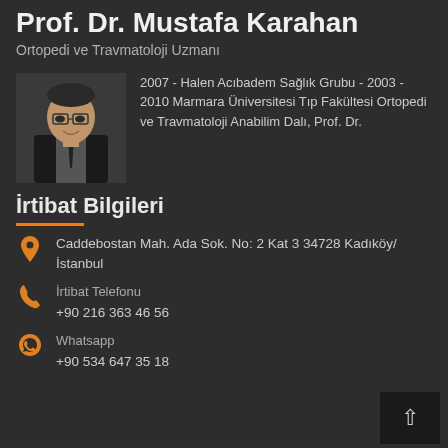Prof. Dr. Mustafa Karahan
Ortopedi ve Travmatoloji Uzmanı
[Figure (photo): Profile photo of Prof. Dr. Mustafa Karahan, a middle-aged man with glasses and a suit]
2007 - Halen Acıbadem Sağlık Grubu - 2003 - 2010 Marmara Üniversitesi Tıp Fakültesi Ortopedi ve Travmatoloji Anabilim Dalı, Prof. Dr.
İrtibat Bilgileri
Caddebostan Mah. Ada Sok. No: 2 Kat 3 34728 Kadıköy/ İstanbul
İrtibat Telefonu
+90 216 363 46 56
Whatsapp
+90 534 647 35 18